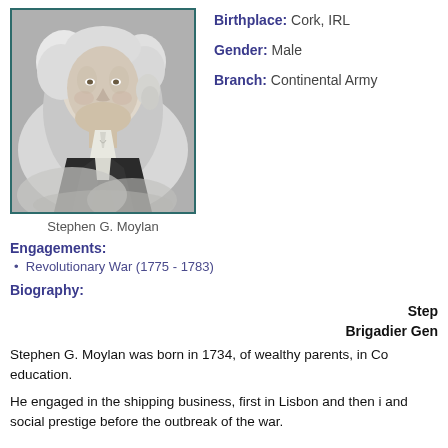[Figure (photo): Black and white portrait of Stephen G. Moylan, a man with white powdered hair wearing a dark coat and white cravat, in a teal-bordered frame.]
Stephen G. Moylan
Birthplace: Cork, IRL
Gender: Male
Branch: Continental Army
Engagements:
Revolutionary War (1775 - 1783)
Biography:
Step
Brigadier Gen
Stephen G. Moylan was born in 1734, of wealthy parents, in Co education.
He engaged in the shipping business, first in Lisbon and then i and social prestige before the outbreak of the war.